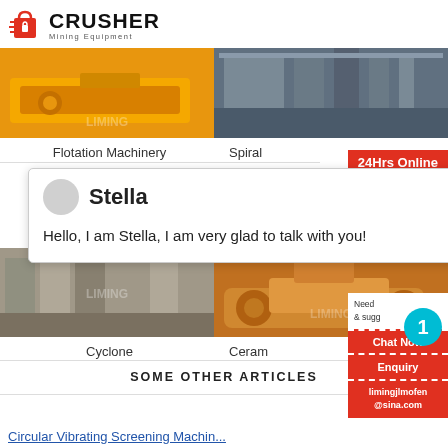[Figure (logo): Crusher Mining Equipment logo with red shopping cart icon and bold black CRUSHER text]
[Figure (photo): Yellow industrial flotation machinery equipment]
Flotation Machinery
[Figure (photo): Industrial spiral classifier equipment with metal scaffolding]
Spiral
[Figure (screenshot): 24Hrs Online red badge overlay]
[Figure (screenshot): Chat popup with Stella avatar, name, and greeting message: Hello, I am Stella, I am very glad to talk with you!]
[Figure (photo): Grey concrete wall industrial cyclone equipment with LIMING watermark]
Cyclone
[Figure (photo): Yellow orange ceramic equipment truck]
Ceram
[Figure (screenshot): Right sidebar with Need & suggestions, Chat Now button, Enquiry, limingjlmofen@sina.com, and blue notification badge showing 1]
SOME OTHER ARTICLES
Circular Vibrating Screening Machine